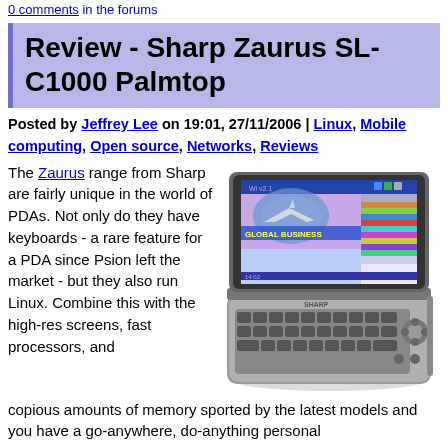0 comments in the forums
Review - Sharp Zaurus SL-C1000 Palmtop
Posted by Jeffrey Lee on 19:01, 27/11/2006 | Linux, Mobile computing, Open source, Networks, Reviews
The Zaurus range from Sharp are fairly unique in the world of PDAs. Not only do they have keyboards - a rare feature for a PDA since Psion left the market - but they also run Linux. Combine this with the high-res screens, fast processors, and copious amounts of memory sported by the latest models and you have a go-anywhere, do-anything personal
[Figure (photo): Photo of Sharp Zaurus SL-C1000 palmtop device, open clamshell showing screen displaying 'GLOBAL BUSINESS' and keyboard below]